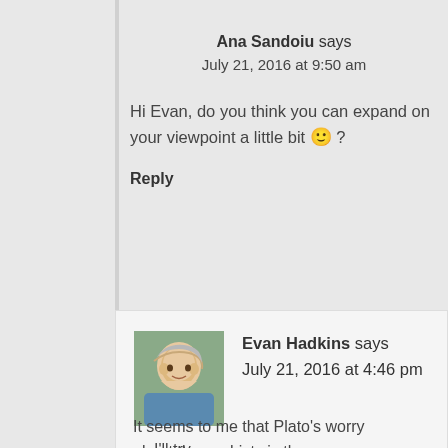Ana Sandoiu says
July 21, 2016 at 9:50 am
Hi Evan, do you think you can expand on your viewpoint a little bit 🙂 ?
Reply
Evan Hadkins says
July 21, 2016 at 4:46 pm
I'll try.
It seems to me that Plato's worry about the sophists is the same we